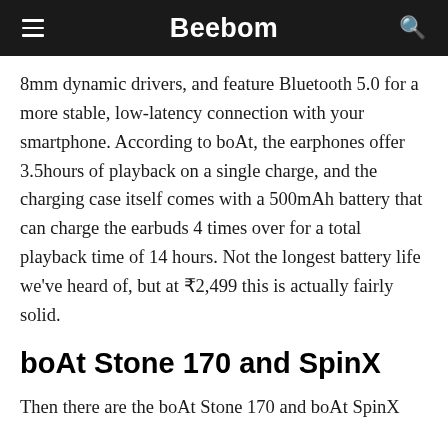Beebom
8mm dynamic drivers, and feature Bluetooth 5.0 for a more stable, low-latency connection with your smartphone. According to boAt, the earphones offer 3.5hours of playback on a single charge, and the charging case itself comes with a 500mAh battery that can charge the earbuds 4 times over for a total playback time of 14 hours. Not the longest battery life we've heard of, but at ₹2,499 this is actually fairly solid.
boAt Stone 170 and SpinX
Then there are the boAt Stone 170 and boAt SpinX